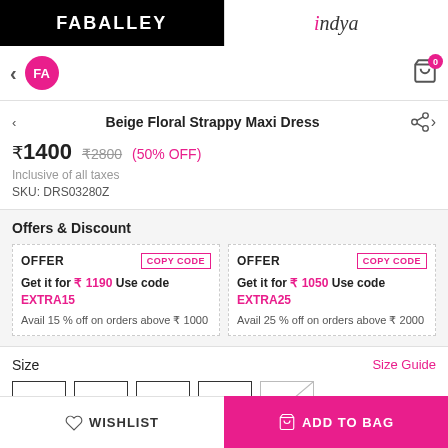FABALLEY | indya
Beige Floral Strappy Maxi Dress
₹1400  ₹2800  (50% OFF)
Inclusive of all taxes
SKU: DRS03280Z
Offers & Discount
OFFER  COPY CODE
Get it for ₹ 1190 Use code EXTRA15
Avail 15 % off on orders above ₹ 1000
OFFER  COPY CODE
Get it for ₹ 1050 Use code EXTRA25
Avail 25 % off on orders above ₹ 2000
Size    Size Guide
XS  S  M  L  XL
♡ WISHLIST    ADD TO BAG